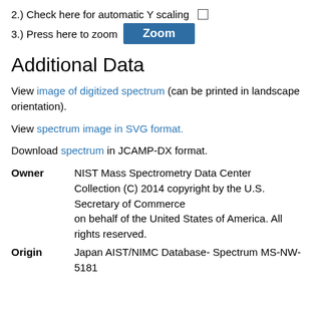2.) Check here for automatic Y scaling ☐
3.) Press here to zoom   [Zoom button]
Additional Data
View image of digitized spectrum (can be printed in landscape orientation).
View spectrum image in SVG format.
Download spectrum in JCAMP-DX format.
| Field | Value |
| --- | --- |
| Owner | NIST Mass Spectrometry Data Center Collection (C) 2014 copyright by the U.S. Secretary of Commerce on behalf of the United States of America. All rights reserved. |
| Origin | Japan AIST/NIMC Database- Spectrum MS-NW-5181 |